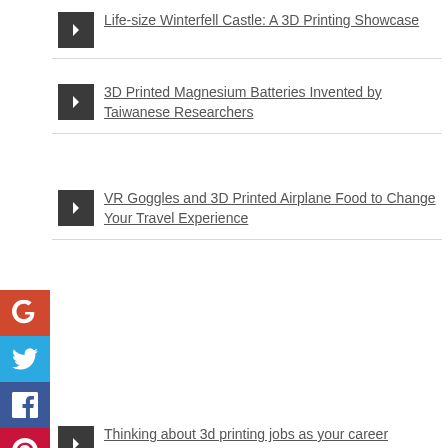Life-size Winterfell Castle: A 3D Printing Showcase
3D Printed Magnesium Batteries Invented by Taiwanese Researchers
VR Goggles and 3D Printed Airplane Food to Change Your Travel Experience
[Figure (screenshot): Social media sharing sidebar with Google+, Twitter, Facebook, Pinterest, StumbleUpon, LinkedIn icons on the left edge of the page]
Thinking about 3d printing jobs as your career opportunity?
[Figure (screenshot): Popup overlay with 'Don't show again | X' dismiss link, heading 'on Facebook', subtext 'more about 3D Printing']
You might be interested to...
First 3D Bioprinted Kidney Tissue From Organovo
3D replica of George Washington's bust is almost ready